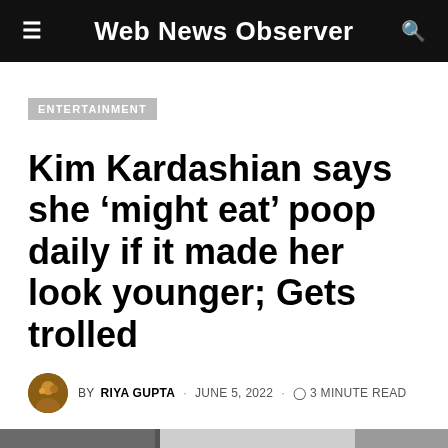Web News Observer
ENTERTAINMENT
Kim Kardashian says she ‘might eat’ poop daily if it made her look younger; Gets trolled
BY RIYA GUPTA · JUNE 5, 2022 · 3 MINUTE READ
[Figure (photo): Partial article image showing a dark and light toned photograph, partially visible at the bottom of the page]